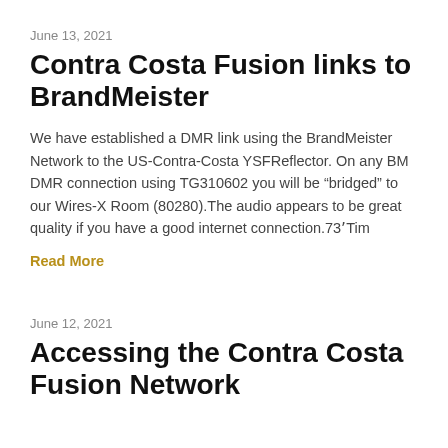June 13, 2021
Contra Costa Fusion links to BrandMeister
We have established a DMR link using the BrandMeister Network to the US-Contra-Costa YSFReflector. On any BM DMR connection using TG310602 you will be “bridged” to our Wires-X Room (80280).The audio appears to be great quality if you have a good internet connection.73 Tim
Read More
June 12, 2021
Accessing the Contra Costa Fusion Network